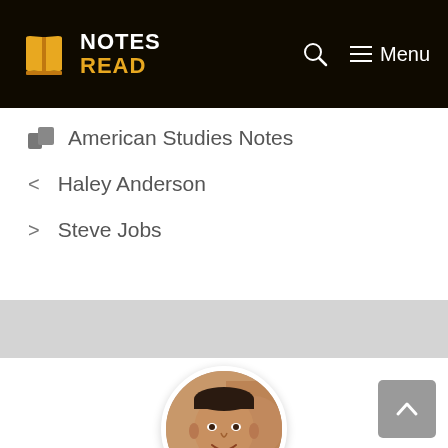NOTES READ
American Studies Notes
< Haley Anderson
> Steve Jobs
[Figure (photo): Circular portrait photo of a middle-aged man smiling, wearing a patterned shirt, with an ornate background]
Back to top button